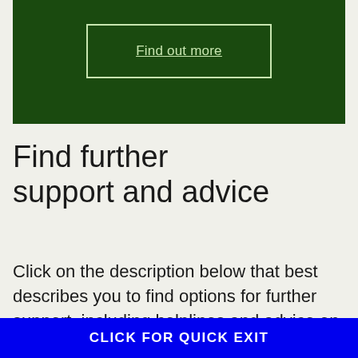[Figure (other): Dark green banner with a bordered button labeled 'Find out more']
Find further support and advice
Click on the description below that best describes you to find options for further support, including helplines and advice on what
CLICK FOR QUICK EXIT